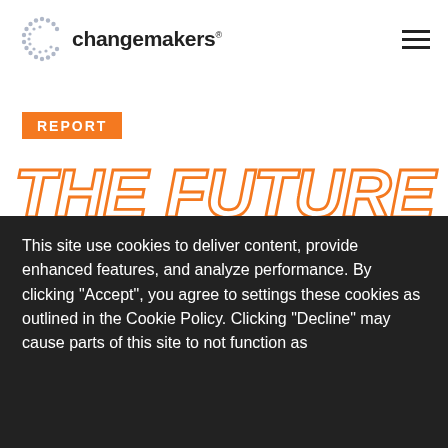[Figure (logo): Changemakers logo with dotted C graphic and wordmark with registered trademark symbol]
REPORT
THE FUTURE OF SOCIAL ENTREPRENEURSHIP
Ashoka's Fellowship Keeps on Evolving, and so will our support programs.
This site use cookies to deliver content, provide enhanced features, and analyze performance. By clicking "Accept", you agree to settings these cookies as outlined in the Cookie Policy. Clicking "Decline" may cause parts of this site to not function as expected.